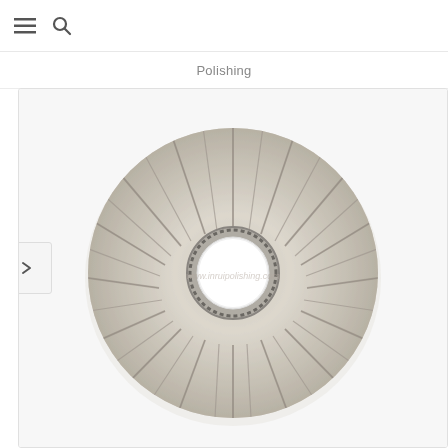≡ 🔍
Polishing
[Figure (photo): A large circular airway buffing polishing wheel made of white/cream pleated fabric, with a metal center hub, viewed from the front. Watermark reads www.inruipolishing.com]